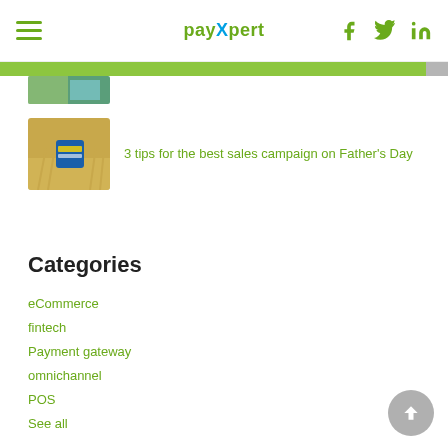payXpert
[Figure (screenshot): Partially visible thumbnail image at top of content area, partially cropped, showing a teal/blue gradient background]
[Figure (photo): Article thumbnail showing a blue gift/credit card in a wheat/grain field on a golden background]
3 tips for the best sales campaign on Father's Day
Categories
eCommerce
fintech
Payment gateway
omnichannel
POS
See all